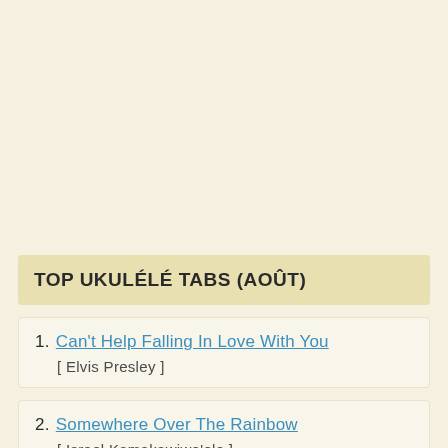TOP UKULÉLÉ TABS (AOÛT)
1. Can't Help Falling In Love With You [ Elvis Presley ]
2. Somewhere Over The Rainbow [ Israel Kamakawiwo'ole ]
3. Blackbird (partial)